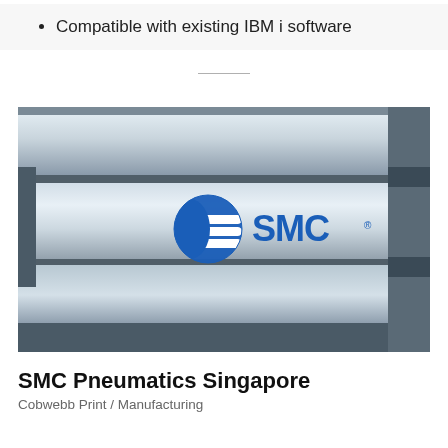Compatible with existing IBM i software
[Figure (photo): Close-up photograph of metallic pneumatic cylinders/actuators with the SMC logo (blue circular wave symbol and 'SMC' text) printed on the central cylinder. Multiple parallel metal rods visible.]
SMC Pneumatics Singapore
Cobwebb Print / Manufacturing